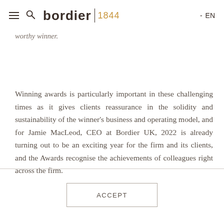bordier 1844 - EN
worthy winner.
Winning awards is particularly important in these challenging times as it gives clients reassurance in the solidity and sustainability of the winner's business and operating model, and for Jamie MacLeod, CEO at Bordier UK, 2022 is already turning out to be an exciting year for the firm and its clients, and the Awards recognise the achievements of colleagues right across the firm.